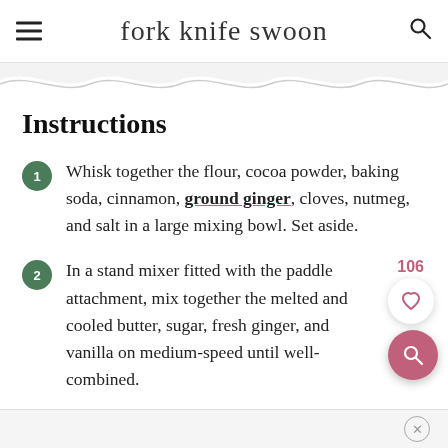fork knife swoon
Instructions
Whisk together the flour, cocoa powder, baking soda, cinnamon, ground ginger, cloves, nutmeg, and salt in a large mixing bowl. Set aside.
In a stand mixer fitted with the paddle attachment, mix together the melted and cooled butter, sugar, fresh ginger, and vanilla on medium-speed until well-combined.